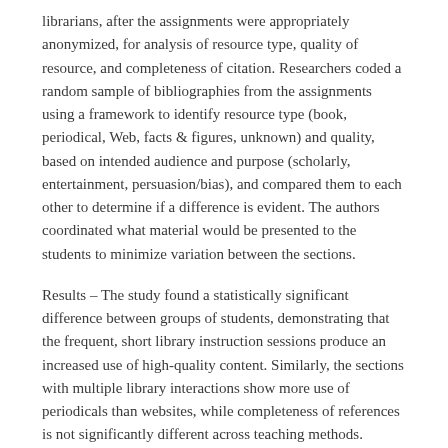librarians, after the assignments were appropriately anonymized, for analysis of resource type, quality of resource, and completeness of citation. Researchers coded a random sample of bibliographies from the assignments using a framework to identify resource type (book, periodical, Web, facts & figures, unknown) and quality, based on intended audience and purpose (scholarly, entertainment, persuasion/bias), and compared them to each other to determine if a difference is evident. The authors coordinated what material would be presented to the students to minimize variation between the sections.
Results – The study found a statistically significant difference between groups of students, demonstrating that the frequent, short library instruction sessions produce an increased use of high-quality content. Similarly, the sections with multiple library interactions show more use of periodicals than websites, while completeness of references is not significantly different across teaching methods.
Conclusions – More frequent and timely interaction between students and library instruction increases the quality of sources used and the completeness of the citations written. While researchers found statistically significant differences, the use of a